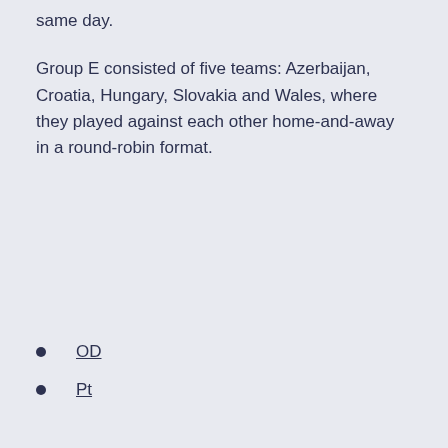mutually. Neither is probably, these happened on the same day.
Group E consisted of five teams: Azerbaijan, Croatia, Hungary, Slovakia and Wales, where they played against each other home-and-away in a round-robin format.
OD
Pt